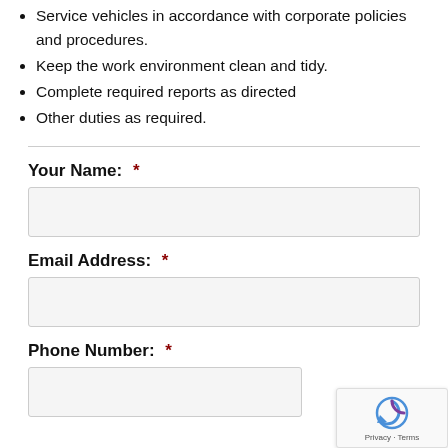Service vehicles in accordance with corporate policies and procedures.
Keep the work environment clean and tidy.
Complete required reports as directed
Other duties as required.
Your Name:  *
Email Address:  *
Phone Number:  *